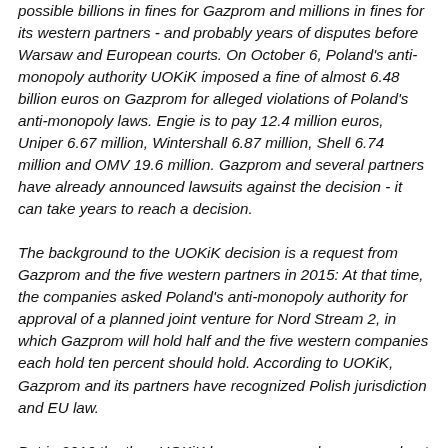possible billions in fines for Gazprom and millions in fines for its western partners - and probably years of disputes before Warsaw and European courts. On October 6, Poland's anti-monopoly authority UOKiK imposed a fine of almost 6.48 billion euros on Gazprom for alleged violations of Poland's anti-monopoly laws. Engie is to pay 12.4 million euros, Uniper 6.67 million, Wintershall 6.87 million, Shell 6.74 million and OMV 19.6 million. Gazprom and several partners have already announced lawsuits against the decision - it can take years to reach a decision.
The background to the UOKiK decision is a request from Gazprom and the five western partners in 2015: At that time, the companies asked Poland's anti-monopoly authority for approval of a planned joint venture for Nord Stream 2, in which Gazprom will hold half and the five western companies each hold ten percent should hold. According to UOKiK, Gazprom and its partners have recognized Polish jurisdiction and EU law.
But in 2016 the then UOKiK boss announced concerns about